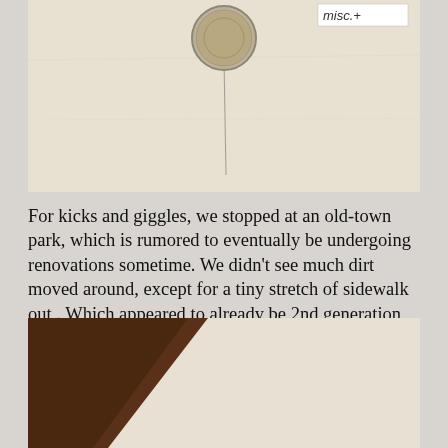[Figure (photo): Top photograph showing a coin mounted on a light beige card/paper background. A handwritten label in the upper right reads 'misc.+'. The coin appears to be a small round metal object (dime) with a pin or needle through it.]
For kicks and giggles, we stopped at an old-town park, which is rumored to eventually be undergoing renovations sometime. We didn't see much dirt moved around, except for a tiny stretch of sidewalk out . Which appeared to already be 2nd generation moved-around. Still managed to get this 1915 S barber dime. Brian got a '15 wheat.
[Figure (photo): Bottom photograph showing a dark brown diagonal shape (possibly a coin holder or container) against a light beige/cream background.]